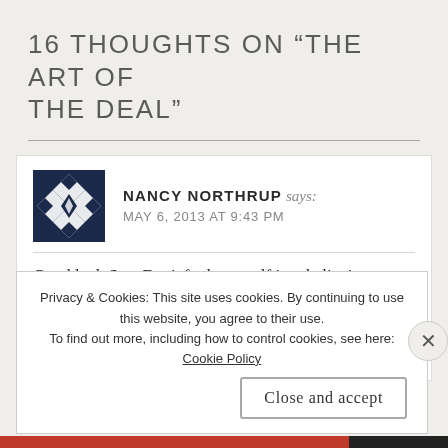16 THOUGHTS ON “THE ART OF THE DEAL”
NANCY NORTHRUP says:
MAY 6, 2013 AT 9:43 PM
Good luck Sue. Don’t fool yourself into believing writing the blog is truly writing and productive. As fun as a blog is, it isn’t a novel and you can’t sell it. At least I
Privacy & Cookies: This site uses cookies. By continuing to use this website, you agree to their use.
To find out more, including how to control cookies, see here:
Cookie Policy
Close and accept